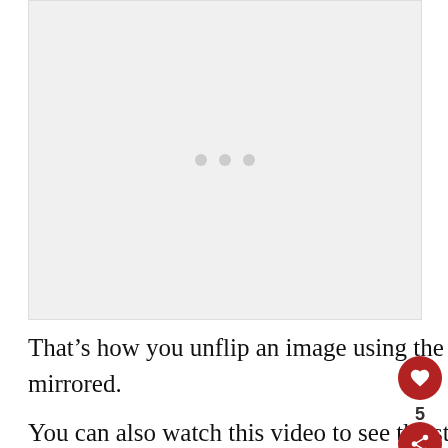[Figure (other): Gray placeholder image area with three gray dots in the center, indicating a loading or video placeholder]
That’s how you unflip an image using the built-in editor. Your final photo is no longer mirrored.
You can also watch this video to see the steps in